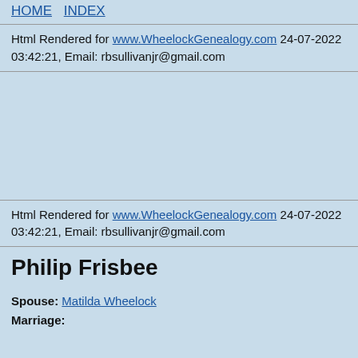HOME  INDEX
Html Rendered for www.WheelockGenealogy.com 24-07-2022 03:42:21, Email: rbsullivanjr@gmail.com
Html Rendered for www.WheelockGenealogy.com 24-07-2022 03:42:21, Email: rbsullivanjr@gmail.com
Philip Frisbee
Spouse: Matilda Wheelock
Marriage: